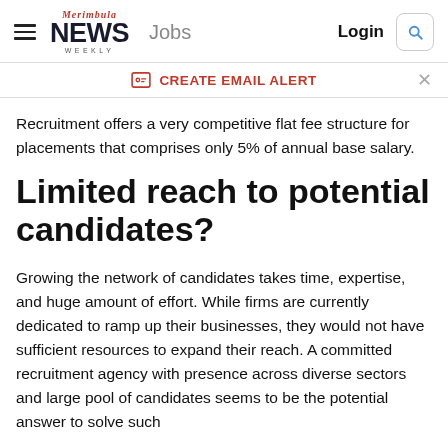Merimbula News Weekly  Jobs  Login
CREATE EMAIL ALERT
Recruitment offers a very competitive flat fee structure for placements that comprises only 5% of annual base salary.
Limited reach to potential candidates?
Growing the network of candidates takes time, expertise, and huge amount of effort. While firms are currently dedicated to ramp up their businesses, they would not have sufficient resources to expand their reach. A committed recruitment agency with presence across diverse sectors and large pool of candidates seems to be the potential answer to solve such